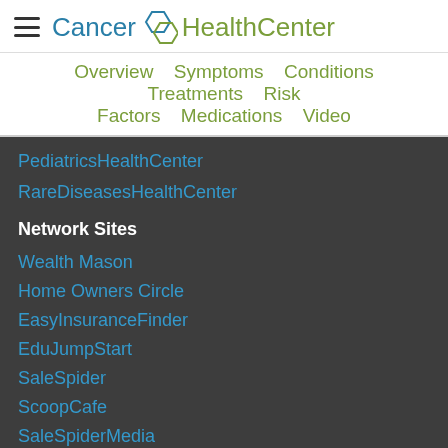Cancer HealthCenter
Overview  Symptoms  Conditions  Treatments  Risk Factors  Medications  Video
PediatricsHealthCenter
RareDiseasesHealthCenter
Network Sites
Wealth Mason
Home Owners Circle
EasyInsuranceFinder
EduJumpStart
SaleSpider
ScoopCafe
SaleSpiderMedia
ViewpointWorld